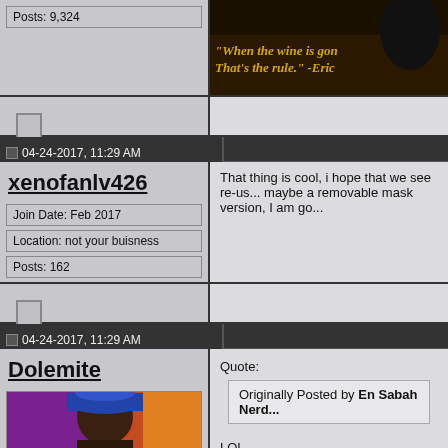Posts: 9,324
[Figure (photo): Dark background with yellow italic quote text: "When the wine is gon... That's the rule." -Eric]
04-24-2017, 11:29 AM
xenofanlv426
Join Date: Feb 2017
Location: not your buisness
Posts: 162
That thing is cool, i hope that we see re-us... maybe a removable mask version, I am go...
04-24-2017, 11:29 AM
Dolemite
[Figure (photo): Avatar photo of a man wearing a colorful hat against a colorful background]
Quote:
Originally Posted by En Sabah Nerd...
LOL